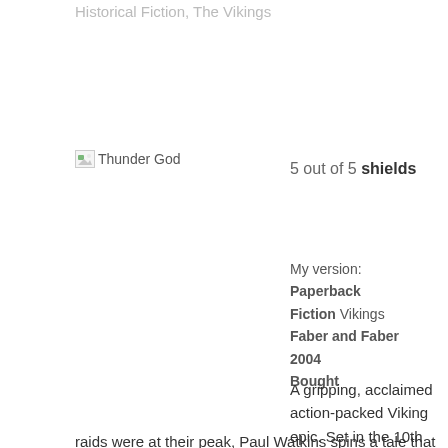Historical Fiction, The Vikings
[Figure (other): Broken image placeholder labeled 'Thunder God']
5 out of 5 shields
My version:
Paperback
Fiction Vikings
Faber and Faber
2004
Bought
A gripping, acclaimed action-packed Viking epic. Set in the 10th century, when Viking raids were at their peak, Paul Watkins spins a tale that covers three continents. After centuries of ranging unchecked across the northern world, the fortunes of the